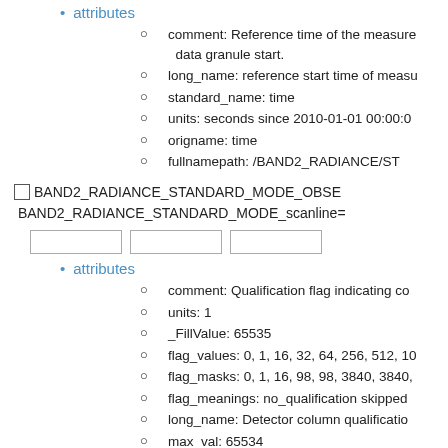attributes
comment: Reference time of the measure data granule start.
long_name: reference start time of measure
standard_name: time
units: seconds since 2010-01-01 00:00:00
origname: time
fullnamepath: /BAND2_RADIANCE/ST
BAND2_RADIANCE_STANDARD_MODE_OBSE BAND2_RADIANCE_STANDARD_MODE_scanline=
attributes
comment: Qualification flag indicating co
units: 1
_FillValue: 65535
flag_values: 0, 1, 16, 32, 64, 256, 512, 10
flag_masks: 0, 1, 16, 98, 98, 3840, 3840,
flag_meanings: no_qualification skipped
long_name: Detector column qualificatio
max_val: 65534
min_val: 0
origname: detector_column_qualification
fullnamepath: /BAND2_RADIANCE/ST